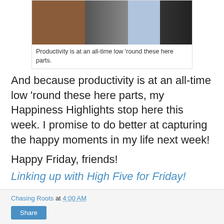[Figure (photo): Screenshot/photo collage showing a computer screen and wooden surface]
Productivity is at an all-time low 'round these here parts.
And because productivity is at an all-time low 'round these here parts, my Happiness Highlights stop here this week. I promise to do better at capturing the happy moments in my life next week!
Happy Friday, friends!
Linking up with High Five for Friday!
Chasing Roots at 4:00 AM
Share
1 comment:
commenter avatar row